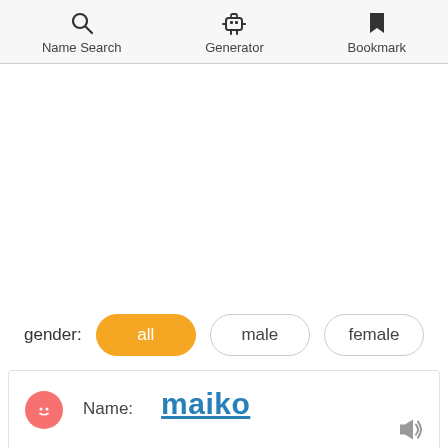Name Search | Generator | Bookmark
gender: all  male  female
Name: maiko